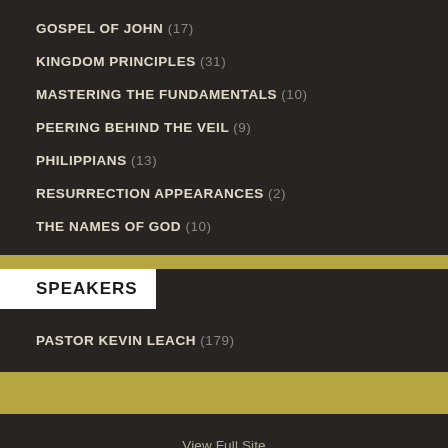GOSPEL OF JOHN (17)
KINGDOM PRINCIPLES (31)
MASTERING THE FUNDAMENTALS (10)
PEERING BEHIND THE VEIL (9)
PHILIPPIANS (13)
RESURRECTION APPEARANCES (2)
THE NAMES OF GOD (10)
SPEAKERS
PASTOR KEVIN LEACH (179)
View Full Site